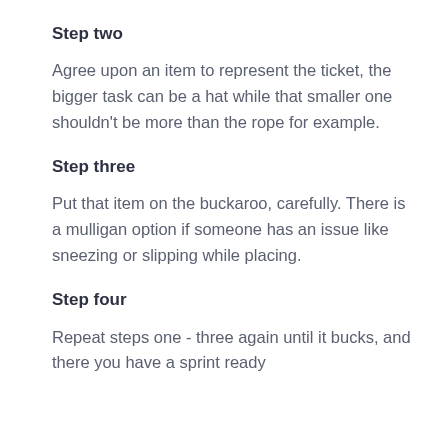Step two
Agree upon an item to represent the ticket, the bigger task can be a hat while that smaller one shouldn't be more than the rope for example.
Step three
Put that item on the buckaroo, carefully. There is a mulligan option if someone has an issue like sneezing or slipping while placing.
Step four
Repeat steps one - three again until it bucks, and there you have a sprint ready